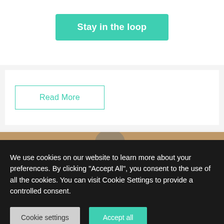×
Stay in the loop
Read More
[Figure (photo): Partial view of a photo showing what appears to be a person or animal in an outdoor setting with warm earthy tones]
We use cookies on our website to learn more about your preferences. By clicking "Accept All", you consent to the use of all the cookies. You can visit Cookie Settings to provide a controlled consent.
Cookie settings
Accept all